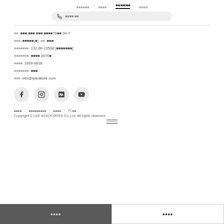[Korean nav] [Korean] [Korean/Korean/Korean] [Korean]
[phone icon] [Korean text]
[Korean label]. [Korean address]78[Korean] 34-7
[Korean label]. [Korean](e)  [Korean label]. [Korean]
[Korean label]. 132-86-10508 [[Korean]]
[Korean label]. [Korean] 00076[Korean]
[Korean label]. 1899-6838
[Korean label]. [Korean]
[Korean label]. info@lyanature.com
[Figure (infographic): Row of 4 social media circular icons: Facebook (f), Instagram, Naver (N), YouTube]
[Korean] | [Korean] | [Korean] | PC[Korean]
Copyright © LEE ASSOCIATES Co.,Ltd. All rights reserved.
[Korean button left] [Korean button right]